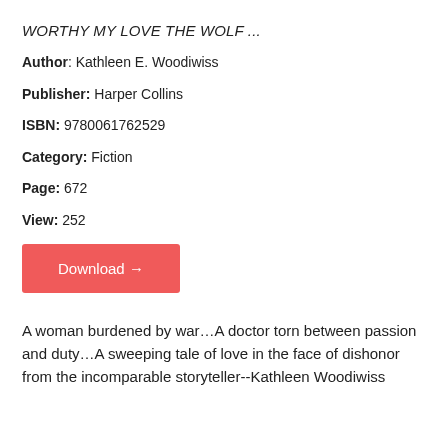WORTHY MY LOVE THE WOLF...
Author: Kathleen E. Woodiwiss
Publisher: Harper Collins
ISBN: 9780061762529
Category: Fiction
Page: 672
View: 252
Download →
A woman burdened by war…A doctor torn between passion and duty…A sweeping tale of love in the face of dishonor from the incomparable storyteller--Kathleen Woodiwiss